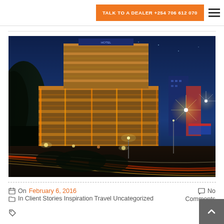TALK TO A DEALER +254 706 612 070
[Figure (photo): Nighttime photo of a large illuminated high-rise hotel building with orange/golden lights, blue evening sky, and motion-blurred traffic lights in the foreground at a busy intersection.]
On February 6, 2016   No Comments
In Client Stories Inspiration Travel Uncategorized